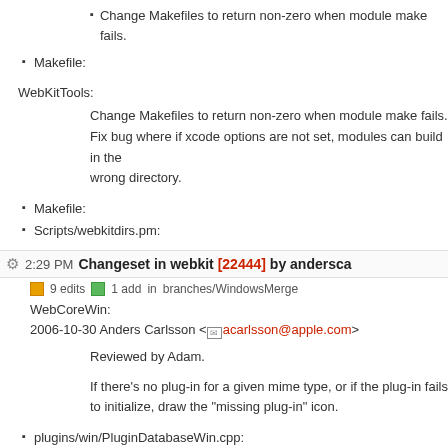Change Makefiles to return non-zero when module make fails.
Makefile:
WebKitTools:
Change Makefiles to return non-zero when module make fails.
Fix bug where if xcode options are not set, modules can build in the wrong directory.
Makefile:
Scripts/webkitdirs.pm:
2:29 PM Changeset in webkit [22444] by andersca
9 edits  1 add  in branches/WindowsMerge
WebCoreWin:
2006-10-30 Anders Carlsson <acarlsson@apple.com>
Reviewed by Adam.
If there's no plug-in for a given mime type, or if the plug-in fails to initialize, draw the "missing plug-in" icon.
plugins/win/PluginDatabaseWin.cpp: